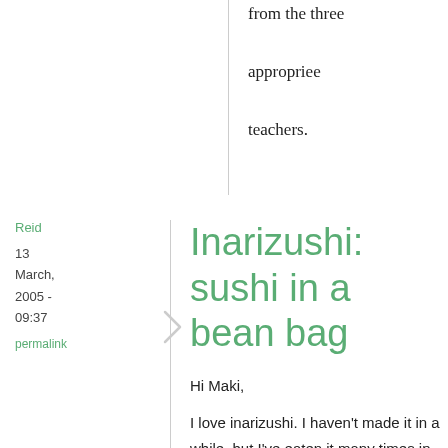from the three appropriee teachers.
Reid
13 March, 2005 - 09:37
permalink
Inarizushi: sushi in a bean bag
Hi Maki,
I love inarizushi. I haven't made it in a while, but I've eaten it many times in the last